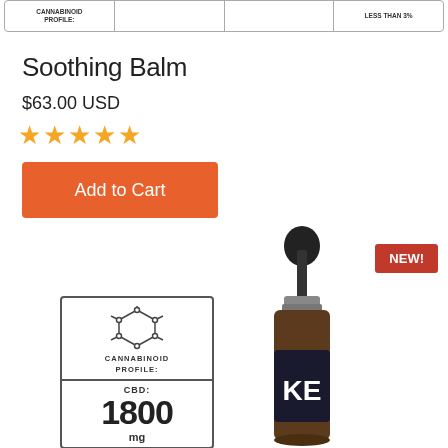| CANNABINOID PROFILE: |  |  | LESS THAN 3% |
| --- | --- | --- | --- |
Soothing Balm
$63.00 USD
★★★★★
Add to Cart
[Figure (infographic): NEW! badge in red]
[Figure (infographic): Cannabinoid profile card showing CBD molecule icon, label CANNABINOID PROFILE:, and CBD: 1800 mg]
[Figure (photo): Dropper bottle with dark label showing KE]